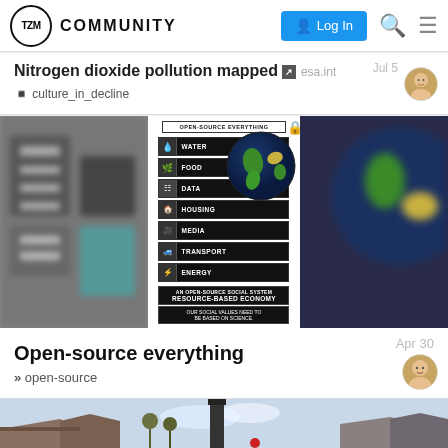TZM COMMUNITY — Log In
Nitrogen dioxide pollution mapped  esa.int
culture_in_decline  Jul 5
[Figure (photo): Open-source everything infographic showing globe with resource categories: WATER, FOOD, DATA, HOUSING, MEDIA, TRANSPORT, ENERGY. Caption: AN OPEN-SOURCE SOCIAL SYSTEM RESOURCE-BASED ECONOMY. OUR SOCIAL VALUES NEED TO BE BASED ON SCIENCE.]
Open-source everything
open-source  Apr 30
[Figure (photo): Bottom portion of page showing rooftops and sky, partially visible.]